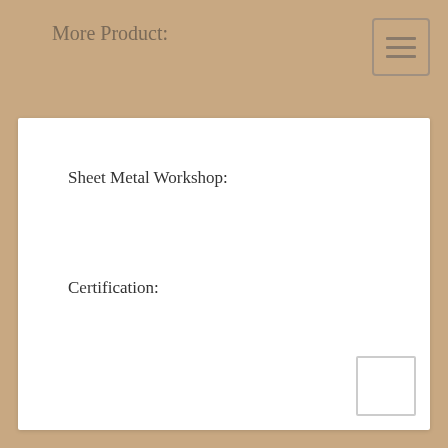More Product:
Sheet Metal Workshop:
Certification: